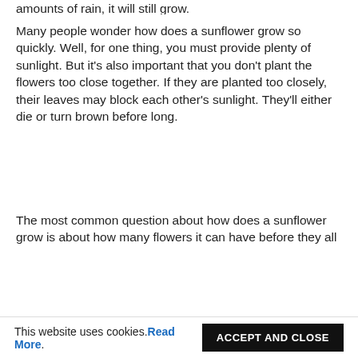amounts of rain, it will still grow.
Many people wonder how does a sunflower grow so quickly. Well, for one thing, you must provide plenty of sunlight. But it’s also important that you don’t plant the flowers too close together. If they are planted too closely, their leaves may block each other’s sunlight. They’ll either die or turn brown before long.
The most common question about how does a sunflower grow is about how many flowers it can have before they all
This website uses cookies. Read More. ACCEPT AND CLOSE